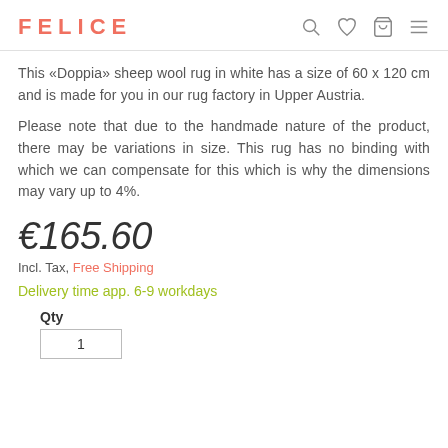FELICE
This «Doppia» sheep wool rug in white has a size of 60 x 120 cm and is made for you in our rug factory in Upper Austria.
Please note that due to the handmade nature of the product, there may be variations in size. This rug has no binding with which we can compensate for this which is why the dimensions may vary up to 4%.
€165.60
Incl. Tax, Free Shipping
Delivery time app. 6-9 workdays
Qty
1